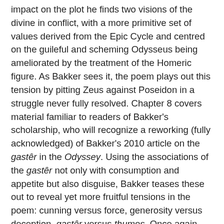impact on the plot he finds two visions of the divine in conflict, with a more primitive set of values derived from the Epic Cycle and centred on the guileful and scheming Odysseus being ameliorated by the treatment of the Homeric figure. As Bakker sees it, the poem plays out this tension by pitting Zeus against Poseidon in a struggle never fully resolved. Chapter 8 covers material familiar to readers of Bakker's scholarship, who will recognize a reworking (fully acknowledged) of Bakker's 2010 article on the gastêr in the Odyssey. Using the associations of the gastêr not only with consumption and appetite but also disguise, Bakker teases these out to reveal yet more fruitful tensions in the poem: cunning versus force, generosity versus deception, gastêr versus thumos. Once again, dichotomies invite reduction; Bakker resists the temptation. Instead we find the heroic code being juxtaposed to and supplemented by the prosaic, belly-driven demands of heroes as 'real' men. This complex nexus of associations is especially fertile when applied to the parallels between Odysseus and Achilles.
Bakker's entire work relies upon a series of finely observed repetitions and allusions. Since this necessarily demands